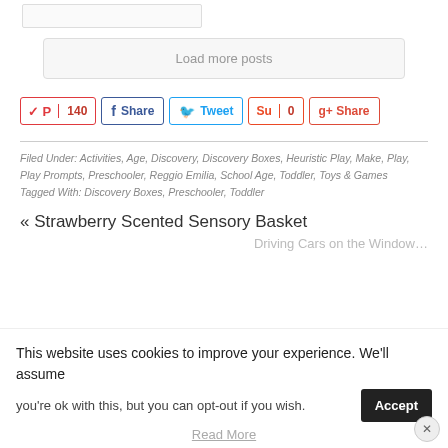[Figure (screenshot): Partial top image/card with border, truncated at top]
Load more posts
[Figure (infographic): Social sharing buttons: Pinterest 140, Facebook Share, Twitter Tweet, StumbleUpon 0, Google+ Share]
Filed Under: Activities, Age, Discovery, Discovery Boxes, Heuristic Play, Make, Play, Play Prompts, Preschooler, Reggio Emilia, School Age, Toddler, Toys & Games
Tagged With: Discovery Boxes, Preschooler, Toddler
« Strawberry Scented Sensory Basket
Driving Cars on the Window...
This website uses cookies to improve your experience. We'll assume you're ok with this, but you can opt-out if you wish.
Accept
Read More